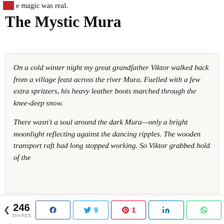e magic was real.
The Mystic Mura
On a cold winter night my great grandfather Viktor walked back from a village feast across the river Mura. Fuelled with a few extra spritzers, his heavy leather boots marched through the knee-deep snow.

There wasn't a soul around the dark Mura—only a bright moonlight reflecting against the dancing ripples. The wooden transport raft had long stopped working. So Viktor grabbed hold of the
246 SHARES  [Share buttons: Facebook, Twitter 9, Pinterest 1, LinkedIn, WhatsApp]